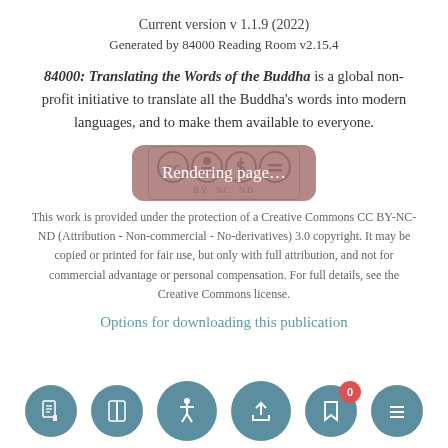Current version v 1.1.9 (2022)
Generated by 84000 Reading Room v2.15.4
84000: Translating the Words of the Buddha is a global non-profit initiative to translate all the Buddha's words into modern languages, and to make them available to everyone.
[Figure (other): Creative Commons CC BY-NC-ND license badge with icons for CC, BY, NC, ND. A semi-transparent mauve overlay reads 'Rendering page...']
This work is provided under the protection of a Creative Commons CC BY-NC-ND (Attribution - Non-commercial - No-derivatives) 3.0 copyright. It may be copied or printed for fair use, but only with full attribution, and not for commercial advantage or personal compensation. For full details, see the Creative Commons license.
Options for downloading this publication
[Figure (other): Row of circular buttons: PDF icon, book icon, accessibility icon (large), upload/share icon (large), bookmark icon with red badge showing 0, and menu/hamburger icon.]